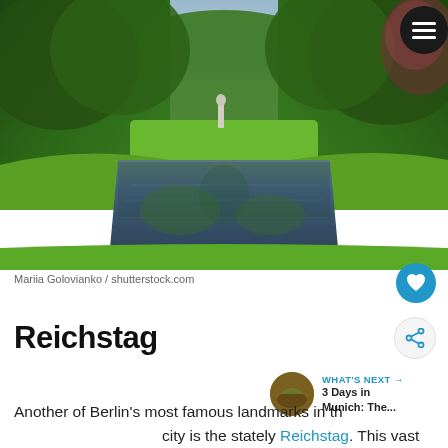[Figure (photo): Park scene with a long reflecting canal/pond flanked by lush green trees and lawns. Trees line both sides, with a statue visible in the background. The water reflects the sky and surrounding greenery.]
Mariia Golovianko / shutterstock.com
Reichstag
WHAT'S NEXT → 3 Days in Munich: The...
Another of Berlin's most famous landmarks in the city is the stately Reichstag. This vast building housed the